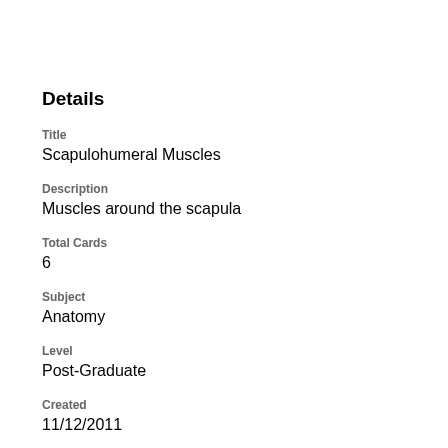Details
Title
Scapulohumeral Muscles
Description
Muscles around the scapula
Total Cards
6
Subject
Anatomy
Level
Post-Graduate
Created
11/12/2011